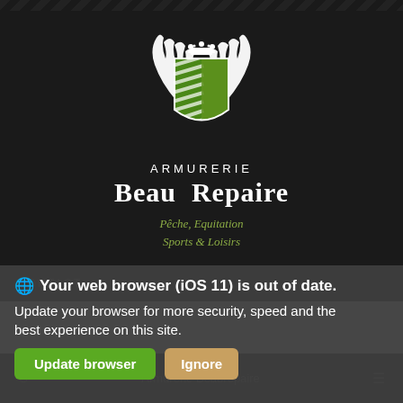[Figure (logo): Armurerie Beau Repaire heraldic crest logo with green shield, antlers, crown, and diagonal stripes on dark background]
ARMURERIE
Beau Repaire
Pêche, Equitation
Sports & Loisirs
CONTACT
Your web browser (iOS 11) is out of date.
Update your browser for more security, speed and the best experience on this site.
Update browser    Ignore
Armurerie Beaurepaire